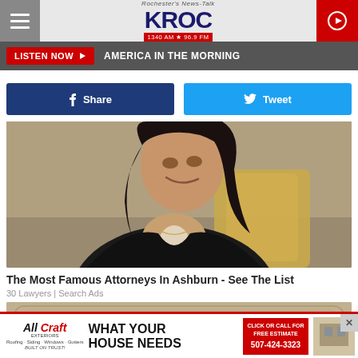Rochester's News-Talk KROC 1340 AM 96.9 FM
LISTEN NOW ▶  AMERICA IN THE MORNING
f Share   Tweet
[Figure (photo): Woman with long dark hair smiling, wearing a black jacket, seated in a tan/gold chair]
The Most Famous Attorneys In Ashburn - See The List
30 Lawyers | Search Ads
[Figure (photo): Partial view of an ornate interior room, second ad image]
All Craft EXTERIORS — WHAT YOUR HOUSE NEEDS — CLICK OR CALL FOR FREE ESTIMATE 507-424-3323 — BUILT ON TRUST!